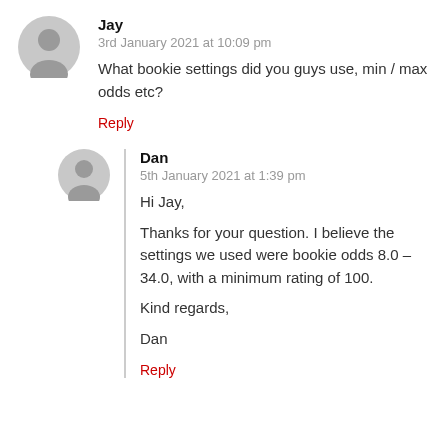Jay
3rd January 2021 at 10:09 pm
What bookie settings did you guys use, min / max odds etc?
Reply
Dan
5th January 2021 at 1:39 pm
Hi Jay,

Thanks for your question. I believe the settings we used were bookie odds 8.0 – 34.0, with a minimum rating of 100.

Kind regards,

Dan
Reply